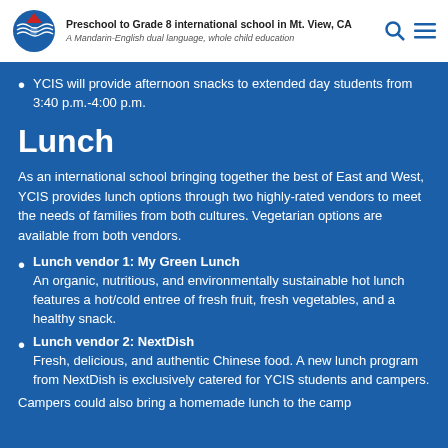Preschool to Grade 8 international school in Mt. View, CA
A Mandarin-English dual language, whole child education
YCIS will provide afternoon snacks to extended day students from 3:40 p.m.-4:00 p.m.
Lunch
As an international school bringing together the best of East and West, YCIS provides lunch options through two highly-rated vendors to meet the needs of families from both cultures. Vegetarian options are available from both vendors.
Lunch vendor 1: My Green Lunch
An organic, nutritious, and environmentally sustainable hot lunch features a hot/cold entree of fresh fruit, fresh vegetables, and a healthy snack.
Lunch vendor 2: NextDish
Fresh, delicious, and authentic Chinese food. A new lunch program from NextDish is exclusively catered for YCIS students and campers.
Campers could also bring a homemade lunch to the camp